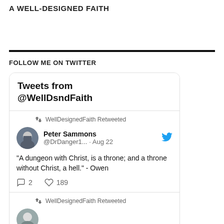A WELL-DESIGNED FAITH
FOLLOW ME ON TWITTER
[Figure (screenshot): Embedded Twitter widget showing tweets from @WellDsndFaith. First tweet: WellDesignedFaith Retweeted, Peter Sammons @DrDanger1... · Aug 22, '"A dungeon with Christ, is a throne; and a throne without Christ, a hell." - Owen', 2 comments, 189 likes. Second tweet: WellDesignedFaith Retweeted, partial avatar visible.]